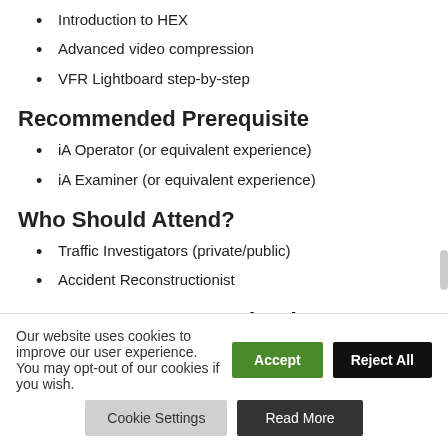Introduction to HEX
Advanced video compression
VFR Lightboard step-by-step
Recommended Prerequisite
iA Operator (or equivalent experience)
iA Examiner (or equivalent experience)
Who Should Attend?
Traffic Investigators (private/public)
Accident Reconstructionist
Day 2 – Reverse Projection:
Our website uses cookies to improve our user experience. You may opt-out of our cookies if you wish.